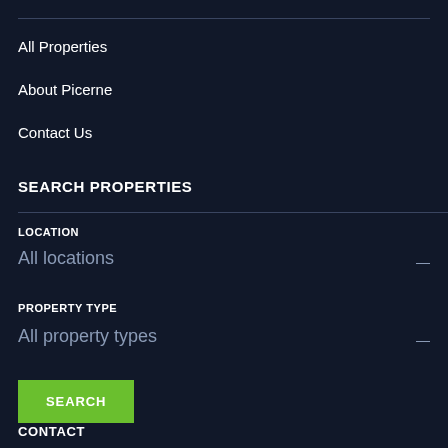All Properties
About Picerne
Contact Us
SEARCH PROPERTIES
LOCATION
All locations
PROPERTY TYPE
All property types
SEARCH
CONTACT